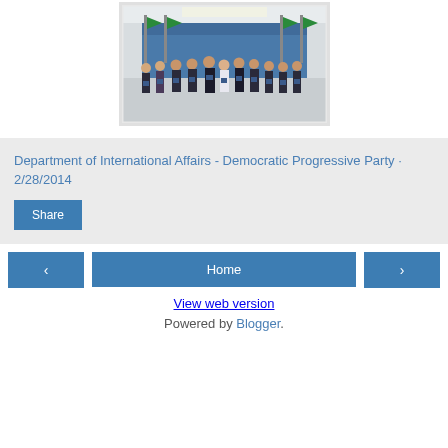[Figure (photo): Group photo of approximately 11 people in formal attire standing in a row, holding small books/items, with green flags and a blue backdrop in the background. The setting appears to be an official government or party meeting room.]
Department of International Affairs - Democratic Progressive Party · 2/28/2014
Share
Home
View web version
Powered by Blogger.